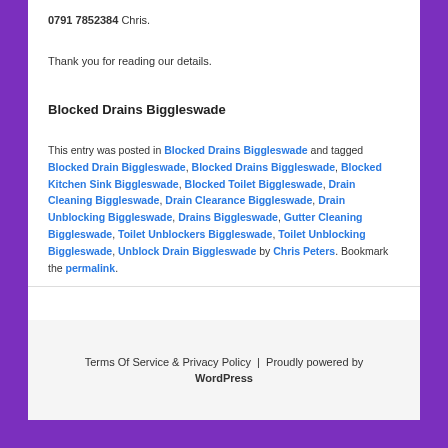0791 7852384 Chris.
Thank you for reading our details.
Blocked Drains Biggleswade
This entry was posted in Blocked Drains Biggleswade and tagged Blocked Drain Biggleswade, Blocked Drains Biggleswade, Blocked Kitchen Sink Biggleswade, Blocked Toilet Biggleswade, Drain Cleaning Biggleswade, Drain Clearance Biggleswade, Drain Unblocking Biggleswade, Drains Biggleswade, Gutter Cleaning Biggleswade, Toilet Unblockers Biggleswade, Toilet Unblocking Biggleswade, Unblock Drain Biggleswade by Chris Peters. Bookmark the permalink.
Terms Of Service & Privacy Policy | Proudly powered by WordPress